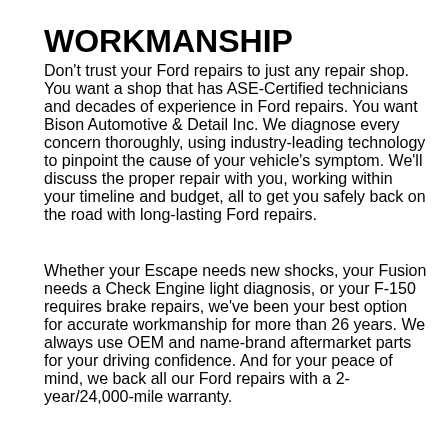WORKMANSHIP
Don't trust your Ford repairs to just any repair shop. You want a shop that has ASE-Certified technicians and decades of experience in Ford repairs. You want Bison Automotive & Detail Inc. We diagnose every concern thoroughly, using industry-leading technology to pinpoint the cause of your vehicle's symptom. We'll discuss the proper repair with you, working within your timeline and budget, all to get you safely back on the road with long-lasting Ford repairs.
Whether your Escape needs new shocks, your Fusion needs a Check Engine light diagnosis, or your F-150 requires brake repairs, we've been your best option for accurate workmanship for more than 26 years. We always use OEM and name-brand aftermarket parts for your driving confidence. And for your peace of mind, we back all our Ford repairs with a 2-year/24,000-mile warranty.